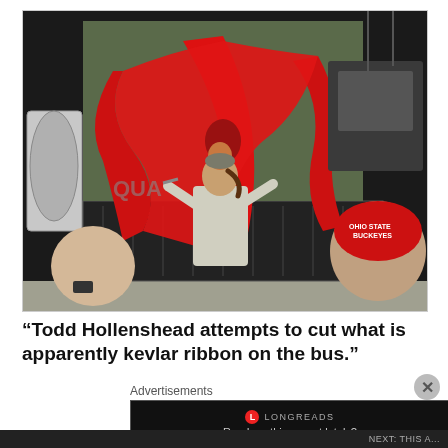[Figure (photo): A person with a ponytail attempting to cut what appears to be red kevlar ribbon draped over a large dark bus. Onlookers are visible including someone in an Ohio State Buckeyes red cap. The setting appears to be an outdoor parking lot.]
“Todd Hollenshead attempts to cut what is apparently kevlar ribbon on the bus.”
Advertisements
[Figure (screenshot): Longreads advertisement banner on black background. Shows Longreads logo with red circle L icon and text 'Read anything great lately?']
NEXT: THIS A...